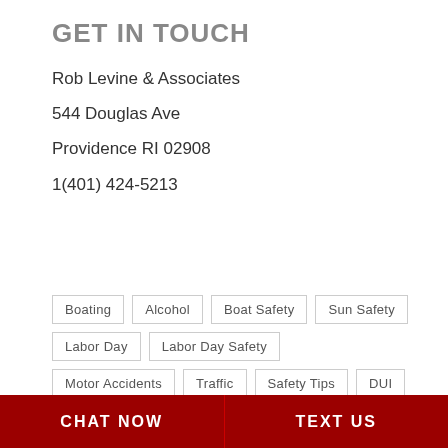GET IN TOUCH
Rob Levine & Associates

544 Douglas Ave

Providence RI 02908

1(401) 424-5213
Boating
Alcohol
Boat Safety
Sun Safety
Labor Day
Labor Day Safety
Motor Accidents
Traffic
Safety Tips
DUI
CHAT NOW    TEXT US